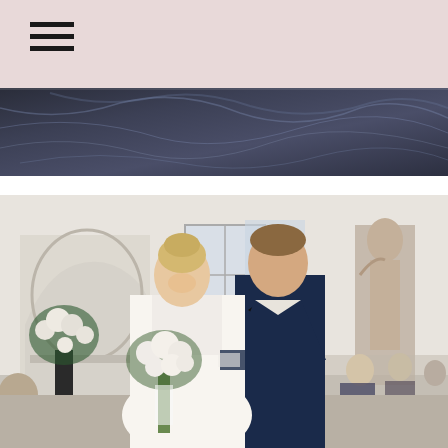[Figure (photo): Pink/mauve header navigation bar with hamburger menu icon (three horizontal lines) in the top left corner]
[Figure (photo): Partial photo showing dark marble surface with blue-grey veining]
[Figure (photo): Wedding ceremony photo: bride in white gown holding white flower bouquet walking arm-in-arm with groom in navy tuxedo with bow tie, inside elegant white ballroom with ornate fireplace and religious statue, guests seated on gold chiavari chairs]